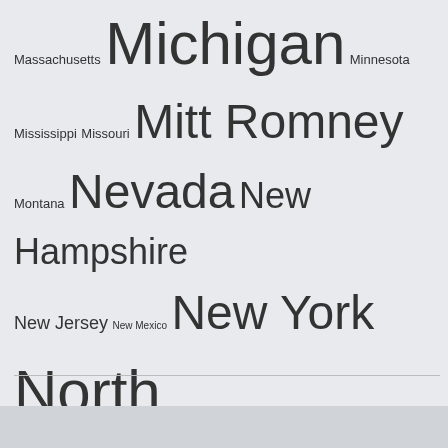[Figure (infographic): Tag cloud / word cloud showing U.S. states and political figures with varying font sizes indicating frequency/importance. Terms include: Massachusetts, Michigan, Minnesota, Mississippi, Missouri, Mitt Romney, Montana, Nevada, New Hampshire, New Jersey, New Mexico, New York, North Carolina, Ohio, Pennsylvania, President Obama, President Trump, Public Policy Polling, Sen. Bernie Sanders, Sen. Elizabeth Warren, Sen. Marco Rubio, Sen. Ted Cruz, South Carolina, Texas, Utah, Virginia, Washington, West Virginia, Wisconsin.]